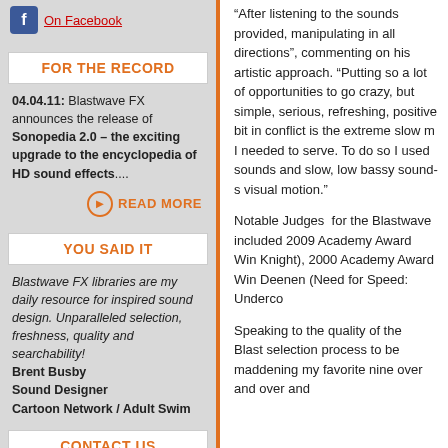On Facebook
FOR THE RECORD
04.04.11: Blastwave FX announces the release of Sonopedia 2.0 – the exciting upgrade to the encyclopedia of HD sound effects....
READ MORE
YOU SAID IT
Blastwave FX libraries are my daily resource for inspired sound design. Unparalleled selection, freshness, quality and searchability! Brent Busby Sound Designer Cartoon Network / Adult Swim
CONTACT US
info@blastwavefx.com
COMPATIBLE WITH
“After listening to the sounds provided, manipulating in all directions”, commenting on his artistic approach. “Putting so a lot of opportunities to go crazy, but simple, serious, refreshing, positive bit in conflict is the extreme slow m I needed to serve. To do so I used sounds and slow, low bassy sound visual motion.”
Notable Judges for the Blastwave included 2009 Academy Award Win Knight), 2000 Academy Award Win Deenen (Need for Speed: Underco
Speaking to the quality of the Blast selection process to be maddening my favorite nine over and over and